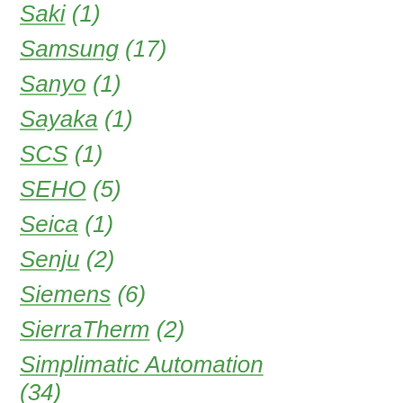Saki (1)
Samsung (17)
Sanyo (1)
Sayaka (1)
SCS (1)
SEHO (5)
Seica (1)
Senju (2)
Siemens (6)
SierraTherm (2)
Simplimatic Automation (34)
Smart Sonic (2)
SMT Wertheim (2)
Sony (7)
SPEA (6)
Speedline (7)
Speedprint (3)
Technical Devices (1)